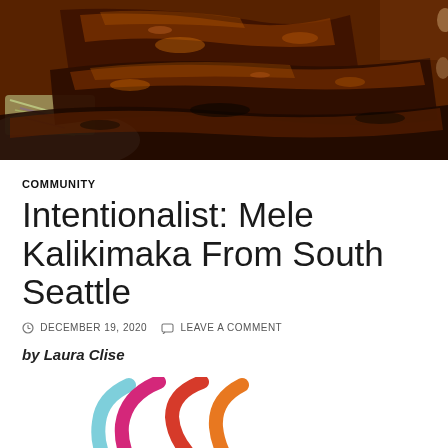[Figure (photo): Close-up photo of glazed grilled meat ribs with a dark caramelized sauce, served with shredded vegetables on a plate]
COMMUNITY
Intentionalist: Mele Kalikimaka From South Seattle
DECEMBER 19, 2020   LEAVE A COMMENT
by Laura Clise
[Figure (logo): Intentionalist logo - colorful curved arc shapes in light blue, magenta/pink, red, and orange arranged in a circular swirl pattern]